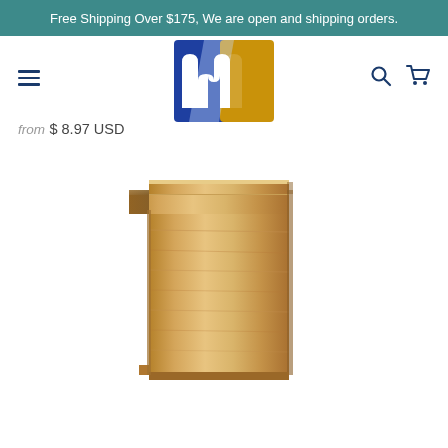Free Shipping Over $175, We are open and shipping orders.
[Figure (logo): Motorized logo — blue and gold letter m with light diagonal stripe]
from $ 8.97 USD
[Figure (photo): Wood baseboard molding piece — light oak wood grain, profiled top edge with step and cove detail, shown as end-cut cross-section block]